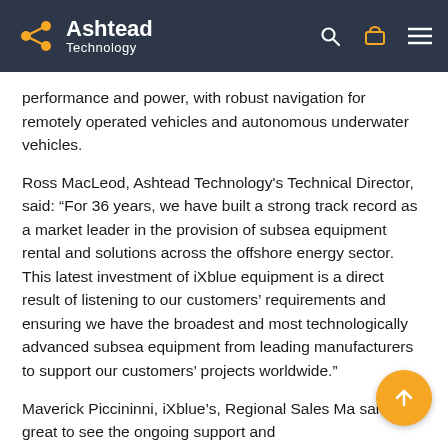Ashtead Technology
performance and power, with robust navigation for remotely operated vehicles and autonomous underwater vehicles.
Ross MacLeod, Ashtead Technology's Technical Director, said: “For 36 years, we have built a strong track record as a market leader in the provision of subsea equipment rental and solutions across the offshore energy sector. This latest investment of iXblue equipment is a direct result of listening to our customers’ requirements and ensuring we have the broadest and most technologically advanced subsea equipment from leading manufacturers to support our customers’ projects worldwide.”
Maverick Piccininni, iXblue’s, Regional Sales Ma said: “It is great to see the ongoing support and investment from Ashtead Technology which is